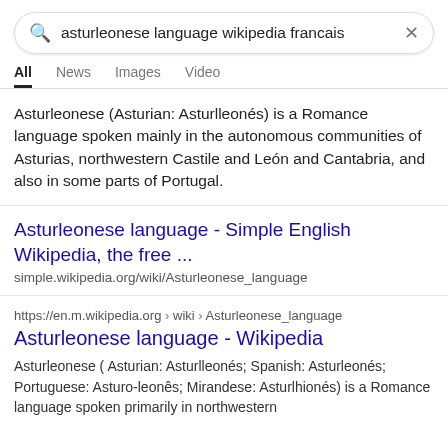[Figure (screenshot): Google search bar with query: asturleonese language wikipedia francais]
All  News  Images  Video
Asturleonese (Asturian: Asturlleonés) is a Romance language spoken mainly in the autonomous communities of Asturias, northwestern Castile and León and Cantabria, and also in some parts of Portugal.
Asturleonese language - Simple English Wikipedia, the free ...
simple.wikipedia.org/wiki/Asturleonese_language
https://en.m.wikipedia.org › wiki › Asturleonese_language
Asturleonese language - Wikipedia
Asturleonese ( Asturian: Asturlleonés; Spanish: Asturleonés; Portuguese: Asturo-leonês; Mirandese: Asturlhionés) is a Romance language spoken primarily in northwestern